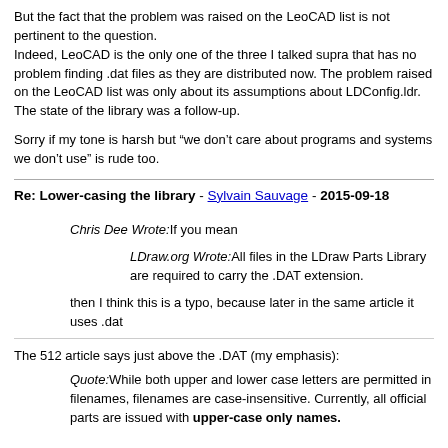But the fact that the problem was raised on the LeoCAD list is not pertinent to the question.
Indeed, LeoCAD is the only one of the three I talked supra that has no problem finding .dat files as they are distributed now. The problem raised on the LeoCAD list was only about its assumptions about LDConfig.ldr. The state of the library was a follow-up.
Sorry if my tone is harsh but “we don’t care about programs and systems we don’t use” is rude too.
Re: Lower-casing the library - Sylvain Sauvage - 2015-09-18
Chris Dee Wrote:If you mean
LDraw.org Wrote:All files in the LDraw Parts Library are required to carry the .DAT extension.
then I think this is a typo, because later in the same article it uses .dat
The 512 article says just above the .DAT (my emphasis):
Quote:While both upper and lower case letters are permitted in filenames, filenames are case-insensitive. Currently, all official parts are issued with upper-case only names.